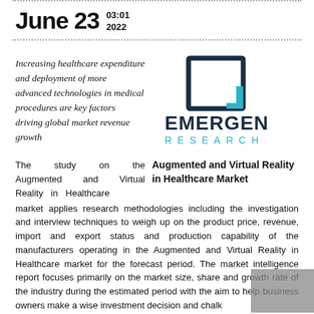June 23  03:01 2022
Increasing healthcare expenditure and deployment of more advanced technologies in medical procedures are key factors driving global market revenue growth
[Figure (logo): Emergen Research logo: square bracket icon above bold text EMERGEN and teal RESEARCH]
The study on the Augmented and Virtual Reality in Healthcare market applies research methodologies including the investigation and interview techniques to weigh up on the product price, revenue, import and export status and production capability of the manufacturers operating in the Augmented and Virtual Reality in Healthcare market for the forecast period. The market intelligence report focuses primarily on the market size, share and growth rate of the industry during the estimated period with the aim to help business owners make a wise investment decision and chalk
Augmented and Virtual Reality in Healthcare Market